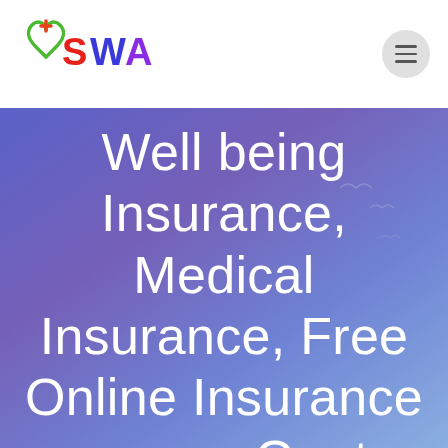[Figure (logo): SWA logo with colorful heart and cross icon, rainbow-colored letters SWA]
Well being Insurance, Medical Insurance, Free Online Insurance coverage Quotes